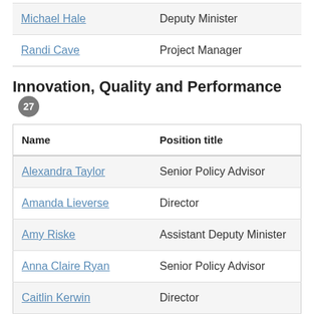| Name | Position title |
| --- | --- |
| Michael Hale | Deputy Minister |
| Randi Cave | Project Manager |
Innovation, Quality and Performance 27
| Name | Position title |
| --- | --- |
| Alexandra Taylor | Senior Policy Advisor |
| Amanda Lieverse | Director |
| Amy Riske | Assistant Deputy Minister |
| Anna Claire Ryan | Senior Policy Advisor |
| Caitlin Kerwin | Director |
| Caitlin Knutson | Senior Policy Advisor |
| Cameron Hoke |  |